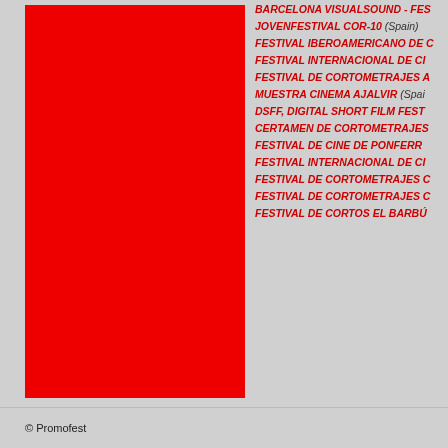[Figure (illustration): Large red rectangle block on left side of page]
BARCELONA VISUALSOUND - FES...
JOVENFESTIVAL COR-10 (Spain)
FESTIVAL IBEROAMERICANO DE C...
FESTIVAL INTERNACIONAL DE CI...
FESTIVAL DE CORTOMETRAJES A...
MUESTRA CINEMA AJALVIR (Spain...)
DSFF, DIGITAL SHORT FILM FEST...
CERTAMEN DE CORTOMETRAJES...
FESTIVAL DE CINE DE PONFERR...
FESTIVAL INTERNACIONAL DE CI...
FESTIVAL DE CORTOMETRAJES C...
FESTIVAL DE CORTOMETRAJES C...
FESTIVAL DE CORTOS EL BARBÚ...
© Promofest